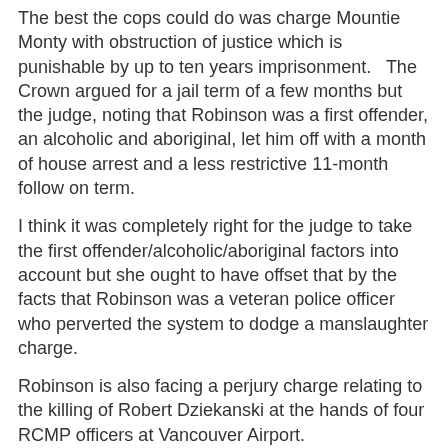The best the cops could do was charge Mountie Monty with obstruction of justice which is punishable by up to ten years imprisonment.   The Crown argued for a jail term of a few months but the judge, noting that Robinson was a first offender, an alcoholic and aboriginal, let him off with a month of house arrest and a less restrictive 11-month follow on term.
I think it was completely right for the judge to take the first offender/alcoholic/aboriginal factors into account but she ought to have offset that by the facts that Robinson was a veteran police officer who perverted the system to dodge a manslaughter charge.
Robinson is also facing a perjury charge relating to the killing of Robert Dziekanski at the hands of four RCMP officers at Vancouver Airport.
The Mound of Sound at 6:08 PM    2 comments:
Share